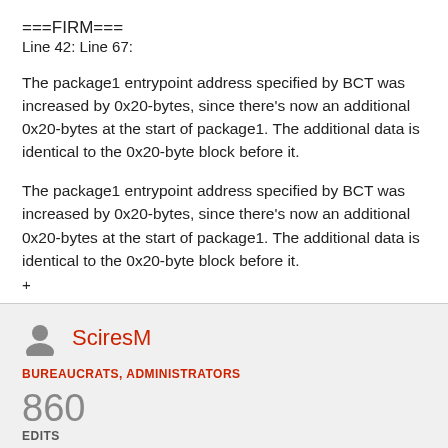===FIRM===
Line 42: Line 67:
The package1 entrypoint address specified by BCT was increased by 0x20-bytes, since there’s now an additional 0x20-bytes at the start of package1. The additional data is identical to the 0x20-byte block before it.
The package1 entrypoint address specified by BCT was increased by 0x20-bytes, since there’s now an additional 0x20-bytes at the start of package1. The additional data is identical to the 0x20-byte block before it.
+ +
SciresM
BUREAUCRATS, ADMINISTRATORS
860 EDITS